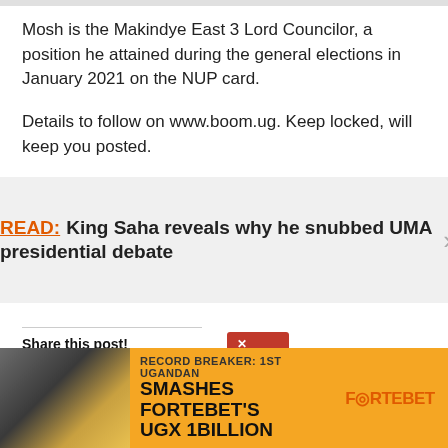Mosh is the Makindye East 3 Lord Councilor, a position he attained during the general elections in January 2021 on the NUP card.
Details to follow on www.boom.ug. Keep locked, will keep you posted.
READ:  King Saha reveals why he snubbed UMA presidential debate
Share this post!
[Figure (infographic): Fortebet advertisement banner: Record Breaker: 1st Ugandan Smashes Fortebet's UGX 1Billion, with orange background and Fortebet logo]